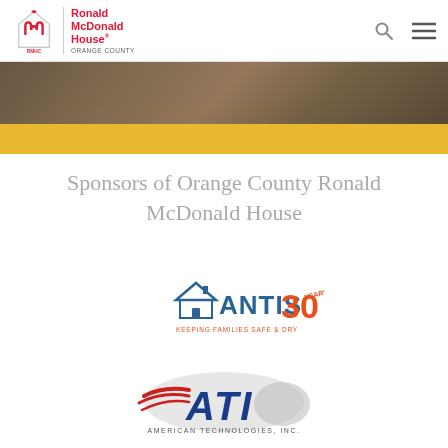Ronald McDonald House ORANGE COUNTY
[Figure (photo): Photo strip of people at Ronald McDonald House]
[Figure (illustration): Gold/amber decorative bar]
Sponsors of Orange County Ronald McDonald House
[Figure (logo): ANTIS 30 YEARS - KEEPING FAMILIES SAFE & DRY logo]
[Figure (logo): ATI - American Technologies, Inc. logo]